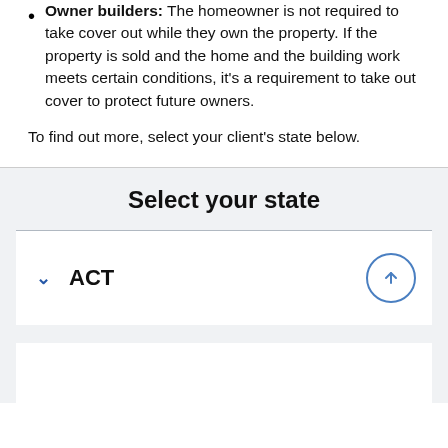Owner builders: The homeowner is not required to take cover out while they own the property. If the property is sold and the home and the building work meets certain conditions, it's a requirement to take out cover to protect future owners.
To find out more, select your client's state below.
Select your state
ACT